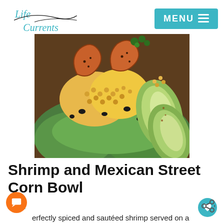Life Currents
[Figure (photo): Close-up of a shrimp and Mexican street corn bowl with romaine lettuce, sautéed shrimp, corn, black beans, and avocado slices in a wooden bowl]
Shrimp and Mexican Street Corn Bowl
8Debi
erfectly spiced and sautéed shrimp served on a bed of romaine lettuce, topped with delicious